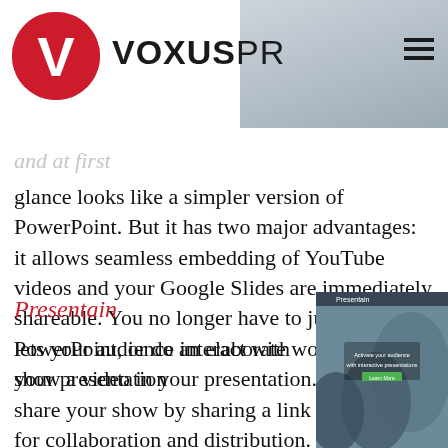VOXUSPR
and at first glance looks like a simpler version of PowerPoint. But it has two major advantages: it allows seamless embedding of YouTube videos and your Google Slides are immediately shareable. You no longer have to jump out of PowerPoint, or do an elaborate workaround, to show a video in your presentation. And you can share your show by sharing a link – very handy for collaboration and distribution.
Presentain
lets your audience interact with your presentation
[Figure (screenshot): Screenshot of Presentain website showing 'Activate your audience with interactive presentations' with a Learn More button, and photo of audience members]